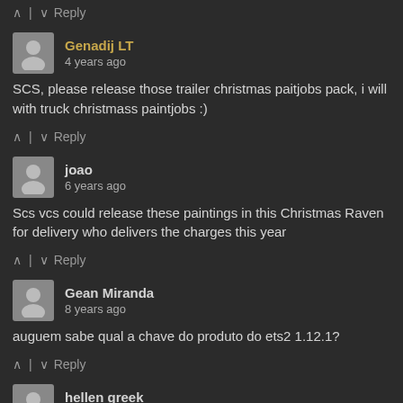^ | v Reply (vote bar, top)
Genadij LT, 4 years ago — SCS, please release those trailer christmas paitjobs pack, i will with truck christmass paintjobs :)
^ | v Reply
joao, 6 years ago — Scs vcs could release these paintings in this Christmas Raven for delivery who delivers the charges this year
^ | v Reply
Gean Miranda, 8 years ago — auguem sabe qual a chave do produto do ets2 1.12.1?
^ | v Reply
hellen greek, 8 years ago — To get more Christmas Party Fashion Trends and Christmas ph...